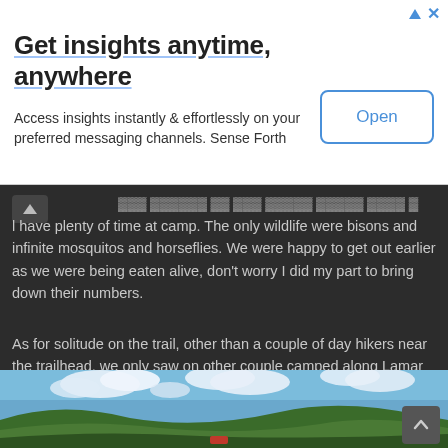[Figure (screenshot): Advertisement banner: 'Get insights anytime, anywhere' with Open button]
Get insights anytime, anywhere
Access insights instantly & effortlessly on your preferred messaging channels. Sense Forth
...l have plenty of time at camp. The only wildlife were bisons and infinite mosquitos and horseflies. We were happy to get out earlier as we were being eaten alive, don't worry I did my part to bring down their numbers.
As for solitude on the trail, other than a couple of day hikers near the trailhead, we only saw on other couple camped along Lamar River and 1 guy coming out from 3T3. That was it.
Day 1: Lamar Trailhead/Soda Spring to Cold Creek (3F1)
It was hot and we didn't start until 11am cause of traffic. Umbrellas were our savior for the trip.
[Figure (photo): Outdoor landscape photo showing blue sky with clouds and green rolling hills/mountains]